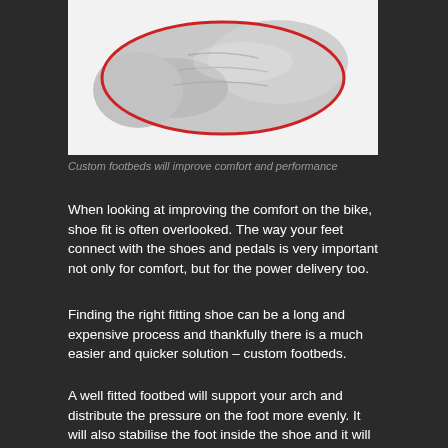[Figure (photo): Cycling shoe insole / custom footbed product image — a grey and red insole viewed from above on a white background]
Custom footbeds will improve comfort and performance
When looking at improving the comfort on the bike, shoe fit is often overlooked. The way your feet connect with the shoes and pedals is very important not only for comfort, but for the power delivery too.
Finding the right fitting shoe can be a long and expensive process and thankfully there is a much easier and quicker solution – custom footbeds.
A well fitted footbed will support your arch and distribute the pressure on the foot more evenly. It will also stabilise the foot inside the shoe and it will stop it moving and sliding around. Having a better